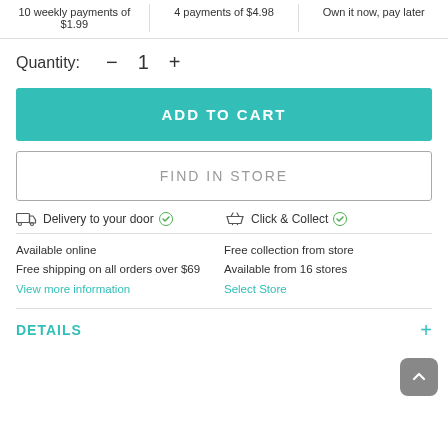10 weekly payments of $1.99 | 4 payments of $4.98 | Own it now, pay later
Quantity: − 1 +
ADD TO CART
FIND IN STORE
Delivery to your door ✓  Click & Collect ✓
Available online
Free shipping on all orders over $69
View more information
Free collection from store
Available from 16 stores
Select Store
DETAILS